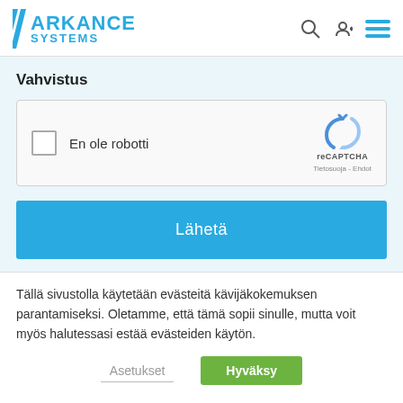[Figure (logo): Arkance Systems logo with blue double-slash and blue text]
Vahvistus
[Figure (other): reCAPTCHA widget with checkbox 'En ole robotti' and reCAPTCHA logo with Tietosuoja - Ehdot text]
[Figure (other): Blue submit button with text 'Lähetä']
Tällä sivustolla käytetään evästeitä kävijäkokemuksen parantamiseksi. Oletamme, että tämä sopii sinulle, mutta voit myös halutessasi estää evästeiden käytön.
Asetukset
Hyväksy